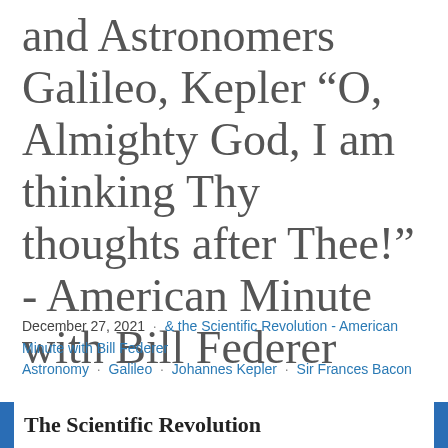and Astronomers Galileo, Kepler "O, Almighty God, I am thinking Thy thoughts after Thee!" - American Minute with Bill Federer
December 27, 2021 · & the Scientific Revolution - American Minute with Bill Federer · Astronomy · Galileo · Johannes Kepler · Sir Frances Bacon
The Scientific Revolution